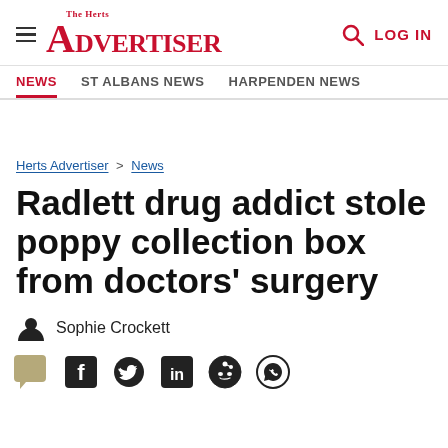The Herts Advertiser — LOG IN
NEWS  ST ALBANS NEWS  HARPENDEN NEWS
Herts Advertiser > News
Radlett drug addict stole poppy collection box from doctors' surgery
Sophie Crockett